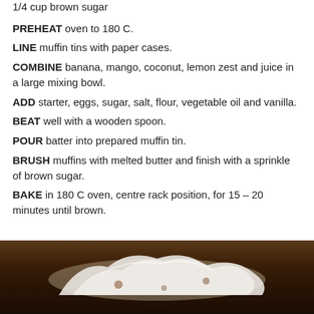1/4 cup brown sugar
PREHEAT oven to 180 C.
LINE muffin tins with paper cases.
COMBINE banana, mango, coconut, lemon zest and juice in a large mixing bowl.
ADD starter, eggs, sugar, salt, flour, vegetable oil and vanilla.
BEAT well with a wooden spoon.
POUR batter into prepared muffin tin.
BRUSH muffins with melted butter and finish with a sprinkle of brown sugar.
BAKE in 180 C oven, centre rack position, for 15 – 20 minutes until brown.
[Figure (photo): Photo of muffins with white powdered sugar or icing on a dark wooden surface]